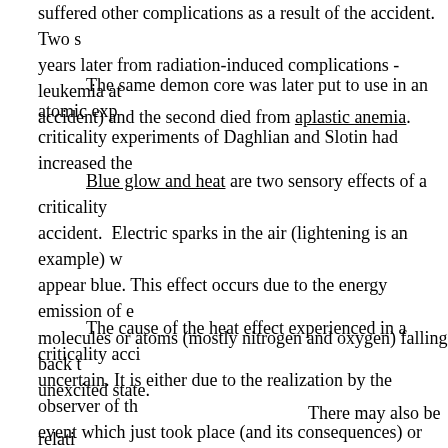suffered other complications as a result of the accident. Two of years later from radiation-induced complications - leukemia at accident) and the second died from aplastic anemia.
The same demon core was later put to use in an atomic exp criticality experiments of Daghlian and Slotin had increased the
Blue glow and heat are two sensory effects of a criticality accident. Electric sparks in the air (lightening is an example) w appear blue. This effect occurs due to the energy emission of e molecules or atoms (mostly nitrogen and oxygen) falling back t unexcited state.
The cause of the heat effect experienced in a criticality acci uncertain. It is either due to the realization by the observer of th event which just took place (and its consequences) or possibly thermal stimulation of heat-sensing skin nerves by the energy o radiation or by a true heat flux produced by the event. One othe cause of this heat sensation is non-thermal damage done to tis production of free radicals (see post: Low Dose Radiation and intense radiation.
There may also be relati effect itself. Over 30% of th